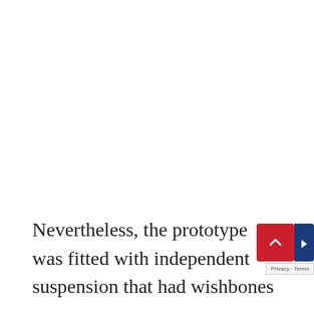Nevertheless, the prototype was fitted with independent suspension that had wishbones